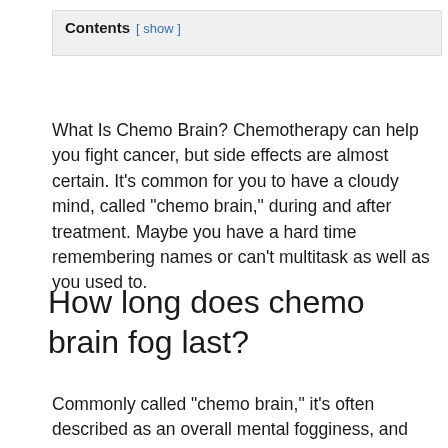Contents [ show ]
What Is Chemo Brain? Chemotherapy can help you fight cancer, but side effects are almost certain. It’s common for you to have a cloudy mind, called “chemo brain,” during and after treatment. Maybe you have a hard time remembering names or can’t multitask as well as you used to.
How long does chemo brain fog last?
Commonly called “chemo brain,” it’s often described as an overall mental fogginess, and breast cancer patients may find that it